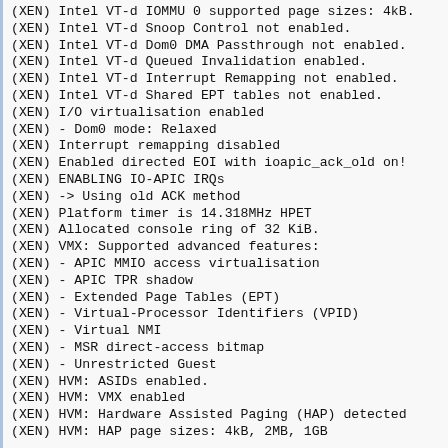(XEN) Intel VT-d IOMMU 0 supported page sizes: 4kB.
(XEN) Intel VT-d Snoop Control not enabled.
(XEN) Intel VT-d Dom0 DMA Passthrough not enabled.
(XEN) Intel VT-d Queued Invalidation enabled.
(XEN) Intel VT-d Interrupt Remapping not enabled.
(XEN) Intel VT-d Shared EPT tables not enabled.
(XEN) I/O virtualisation enabled
(XEN) - Dom0 mode: Relaxed
(XEN) Interrupt remapping disabled
(XEN) Enabled directed EOI with ioapic_ack_old on!
(XEN) ENABLING IO-APIC IRQs
(XEN) -> Using old ACK method
(XEN) Platform timer is 14.318MHz HPET
(XEN) Allocated console ring of 32 KiB.
(XEN) VMX: Supported advanced features:
(XEN) - APIC MMIO access virtualisation
(XEN) - APIC TPR shadow
(XEN) - Extended Page Tables (EPT)
(XEN) - Virtual-Processor Identifiers (VPID)
(XEN) - Virtual NMI
(XEN) - MSR direct-access bitmap
(XEN) - Unrestricted Guest
(XEN) HVM: ASIDs enabled.
(XEN) HVM: VMX enabled
(XEN) HVM: Hardware Assisted Paging (HAP) detected
(XEN) HVM: HAP page sizes: 4kB, 2MB, 1GB